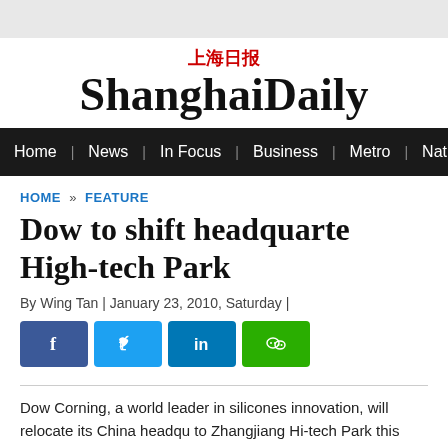上海日报 ShanghaiDaily
Home | News | In Focus | Business | Metro | Nation | Wor...
HOME » FEATURE
Dow to shift headquarters to Zhangjiang Hi-tech Park
By Wing Tan | January 23, 2010, Saturday |
[Figure (other): Social share buttons: Facebook, Twitter, LinkedIn, WeChat]
Dow Corning, a world leader in silicones innovation, will relocate its China headquarters to Zhangjiang Hi-tech Park this summer...